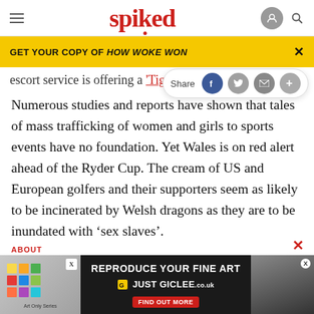spiked
GET YOUR COPY OF HOW WOKE WON
escort service is offering a 'Tige
Numerous studies and reports have shown that tales of mass trafficking of women and girls to sports events have no foundation. Yet Wales is on red alert ahead of the Ryder Cup. The cream of US and European golfers and their supporters seem as likely to be incinerated by Welsh dragons as they are to be inundated with ‘sex slaves’.
[Figure (screenshot): Advertisement: REPRODUCE YOUR FINE ART / JUST GICLEE with FIND OUT MORE button]
ABOUT